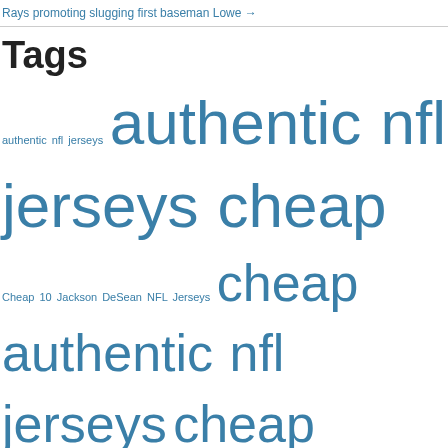Rays promoting slugging first baseman Lowe →
Tags
authentic nfl jerseys
authentic nfl jerseys cheap
Cheap 10 Jackson DeSean NFL Jerseys
cheap authentic nfl jerseys
cheap china jerseys nfl
cheap chinese authentic nfl jerseys
cheap custom nfl football jerseys
cheap nfl authentic jerseys
cheap nfl custom jerseys
cheap nfl jersey
cheap nfl jerseys
cheap nfl jerseys authentic
cheap nfl jerseys china
cheap nfl jerseys china nike
cheap nfl jerseys